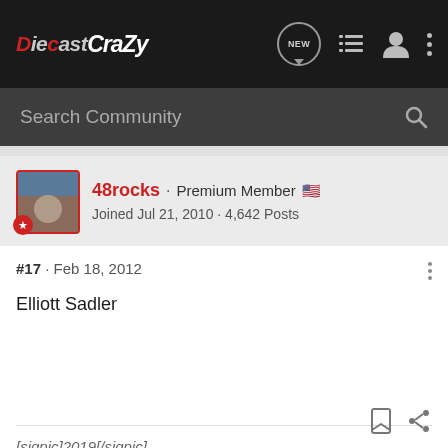DiecastCrazy - forum navigation bar with NEW, list, user, and menu icons
Search Community
48rocks · Premium Member
Joined Jul 21, 2010 · 4,642 Posts
#17 · Feb 18, 2012
Elliott Sadler
[sigpic]2019[/sigpic]